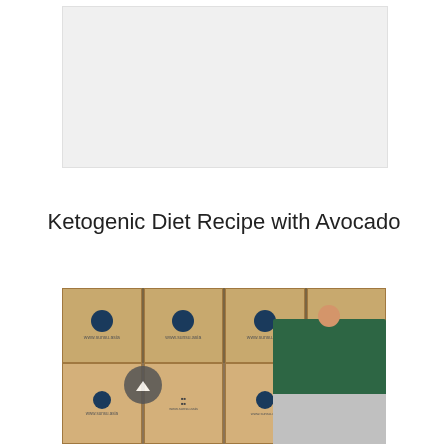[Figure (photo): Gray/white placeholder rectangle at the top of the page]
Ketogenic Diet Recipe with Avocado
[Figure (photo): Photograph of a man in a dark green polo shirt standing in a warehouse surrounded by stacked cardboard boxes labeled with Thai text and www.sunsu.asia branding. A circular scroll-up button overlay is visible on the lower left of the image.]